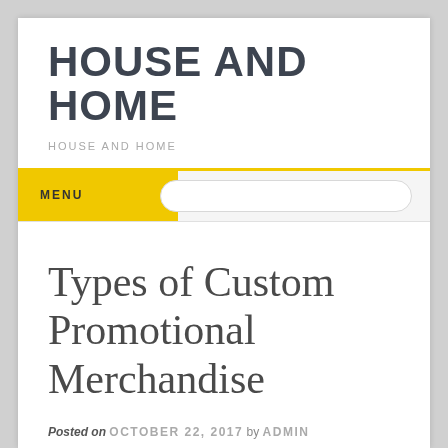HOUSE AND HOME
HOUSE AND HOME
MENU
Types of Custom Promotional Merchandise
Posted on OCTOBER 22, 2017 by ADMIN